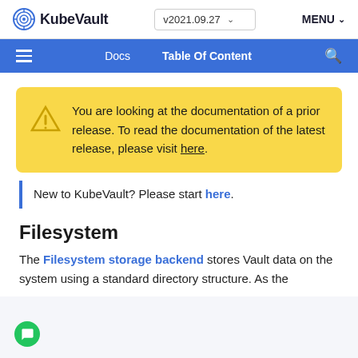KubeVault v2021.09.27 MENU
Docs  Table Of Content
You are looking at the documentation of a prior release. To read the documentation of the latest release, please visit here.
New to KubeVault? Please start here.
Filesystem
The Filesystem storage backend stores Vault data on the system using a standard directory structure. As the